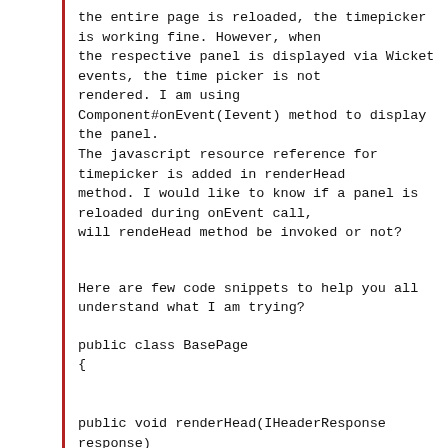the entire page is reloaded, the timepicker
is working fine. However, when
the respective panel is displayed via Wicket
events, the time picker is not
rendered. I am using
Component#onEvent(Ievent) method to display
the panel.
The javascript resource reference for
timepicker is added in renderHead
method. I would like to know if a panel is
reloaded during onEvent call,
will rendeHead method be invoked or not?
Here are few code snippets to help you all
understand what I am trying?
public class BasePage
{


public void renderHead(IHeaderResponse
response)
{